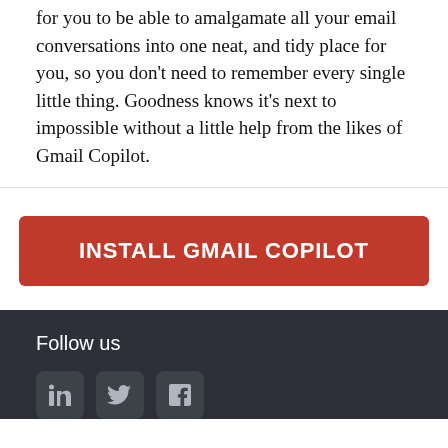for you to be able to amalgamate all your email conversations into one neat, and tidy place for you, so you don't need to remember every single little thing. Goodness knows it's next to impossible without a little help from the likes of Gmail Copilot.
[Figure (other): Red call-to-action button with white uppercase text: INSTALL GMAIL COPILOT]
Follow us
[Figure (other): Three social media icons: LinkedIn, Twitter, Facebook arranged horizontally on dark footer background]